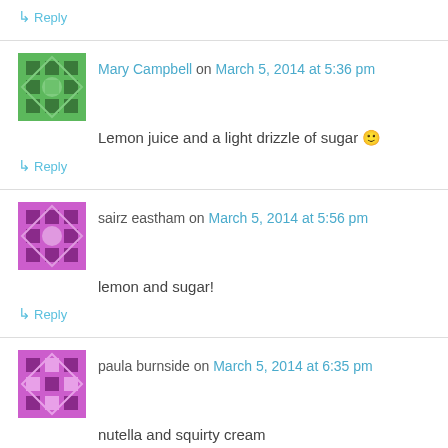↳ Reply
Mary Campbell on March 5, 2014 at 5:36 pm
Lemon juice and a light drizzle of sugar 🙂
↳ Reply
sairz eastham on March 5, 2014 at 5:56 pm
lemon and sugar!
↳ Reply
paula burnside on March 5, 2014 at 6:35 pm
nutella and squirty cream
↳ Reply
Chelsea Williams on March 5, 2014 at 6:59 pm